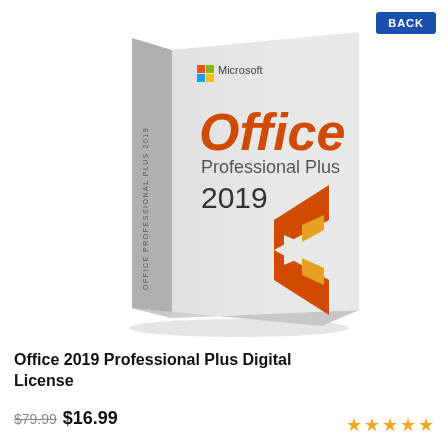[Figure (illustration): Microsoft Office Professional Plus 2019 box product shot — a 3D perspective software box with white/light-gray faces. The front face shows the Microsoft logo at top-left, 'Office' in large orange text, 'Professional Plus' in gray, '2019' in dark gray/black, and the orange Office logo (stylized bracket/C shape) at bottom-right. The left spine reads 'OFFICE PROFESSIONAL PLUS 2019' vertically in small dark text.]
Office 2019 Professional Plus Digital License
$79.99 $16.99
[Figure (other): Five gold/orange star rating icons]